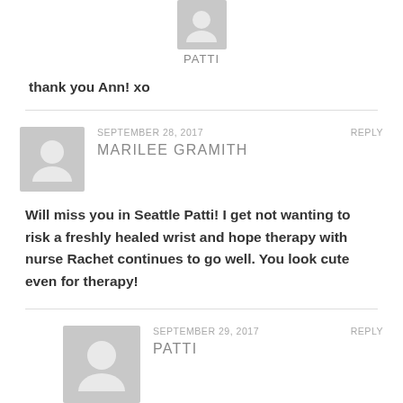[Figure (illustration): Grey avatar icon for user PATTI at top]
PATTI
thank you Ann! xo
[Figure (illustration): Grey avatar icon for MARILEE GRAMITH]
SEPTEMBER 28, 2017
REPLY
MARILEE GRAMITH
Will miss you in Seattle Patti! I get not wanting to risk a freshly healed wrist and hope therapy with nurse Rachet continues to go well. You look cute even for therapy!
[Figure (illustration): Grey avatar icon for second PATTI comment]
SEPTEMBER 29, 2017
REPLY
PATTI